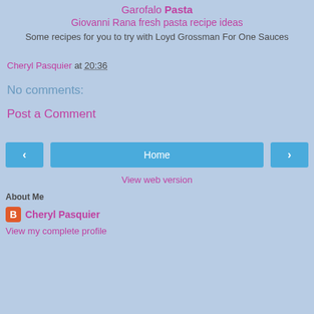Garofalo Pasta
Giovanni Rana fresh pasta recipe ideas
Some recipes for you to try with Loyd Grossman For One Sauces
Cheryl Pasquier at 20:36
No comments:
Post a Comment
Home
View web version
About Me
Cheryl Pasquier
View my complete profile